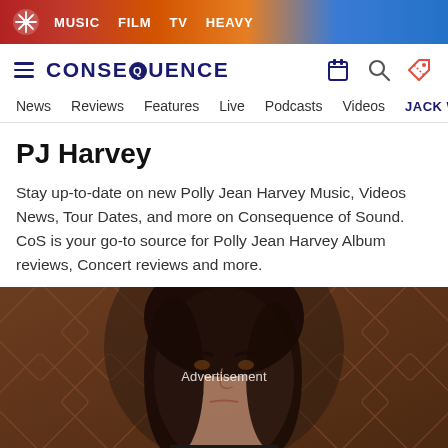MUSIC  FILM  TV  HEAVY
CONSEQUENCE — News  Reviews  Features  Live  Podcasts  Videos  JACK WH
PJ Harvey
Stay up-to-date on new Polly Jean Harvey Music, Videos News, Tour Dates, and more on Consequence of Sound. CoS is your go-to source for Polly Jean Harvey Album reviews, Concert reviews and more.
[Figure (photo): Close-up portrait photograph of PJ Harvey (Polly Jean Harvey) with dark hair, looking at camera, against a brown geometric-patterned background. 'Advertisement' text overlaid in center.]